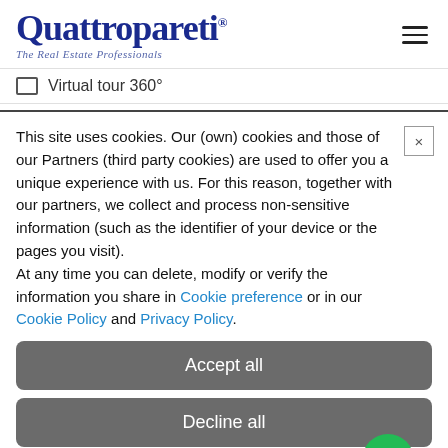Quattropareti.com — The Real Estate Professionals
Virtual tour 360°
This site uses cookies. Our (own) cookies and those of our Partners (third party cookies) are used to offer you a unique experience with us. For this reason, together with our partners, we collect and process non-sensitive information (such as the identifier of your device or the pages you visit). At any time you can delete, modify or verify the information you share in Cookie preference or in our Cookie Policy and Privacy Policy.
Accept all
Decline all
Customize